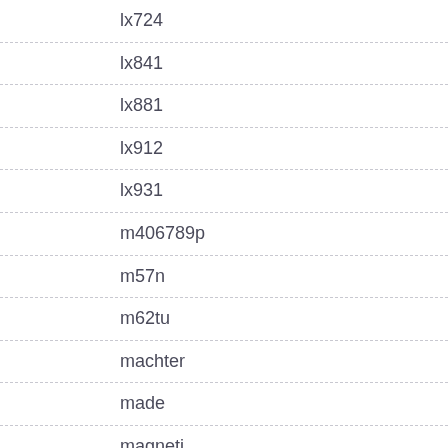lx724
lx841
lx881
lx912
lx931
m406789p
m57n
m62tu
machter
made
magneti